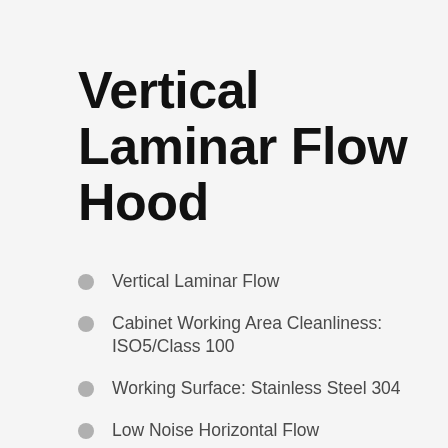Vertical Laminar Flow Hood
Vertical Laminar Flow
Cabinet Working Area Cleanliness: ISO5/Class 100
Working Surface: Stainless Steel 304
Low Noise Horizontal Flow